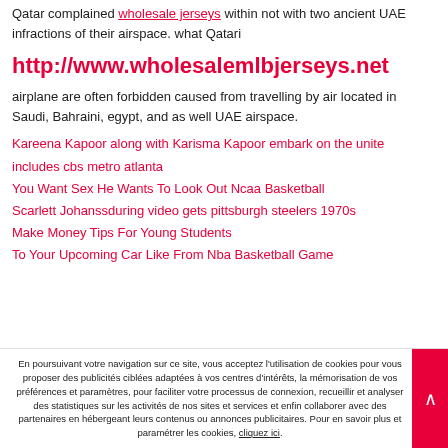Qatar complained wholesale jerseys within not with two ancient UAE infractions of their airspace. what Qatari
http://www.wholesalemlbjerseys.net
airplane are often forbidden caused from travelling by air located in Saudi, Bahraini, egypt, and as well UAE airspace.
Kareena Kapoor along with Karisma Kapoor embark on the unite
includes cbs metro atlanta
You Want Sex He Wants To Look Out Ncaa Basketball
Scarlett Johanssduring video gets pittsburgh steelers 1970s
Make Money Tips For Young Students
To Your Upcoming Car Like From Nba Basketball Game
En poursuivant votre navigation sur ce site, vous acceptez l'utilisation de cookies pour vous proposer des publicités ciblées adaptées à vos centres d'intérêts, la mémorisation de vos préférences et paramètres, pour faciliter votre processus de connexion, recueillir et analyser des statistiques sur les activités de nos sites et services et enfin collaborer avec des partenaires en hébergeant leurs contenus ou annonces publicitaires. Pour en savoir plus et paramétrer les cookies, cliquez ici.